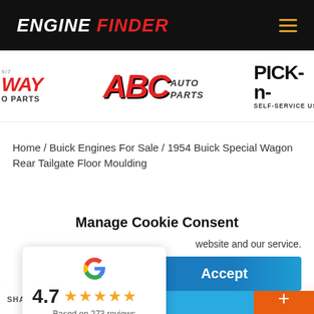ENGINE FINDER
[Figure (logo): Three auto parts store logos: partial WAY O PARTS logo on left, ABC Auto Parts logo in center, partial PICK-n- Self-Service Used logo on right]
Home / Buick Engines For Sale / 1954 Buick Special Wagon Rear Tailgate Floor Moulding
Manage Cookie Consent
website and our service.
Accept
[Figure (other): Google review widget showing 4.7 rating with 5 gold stars, Based on 273 reviews]
SHARES